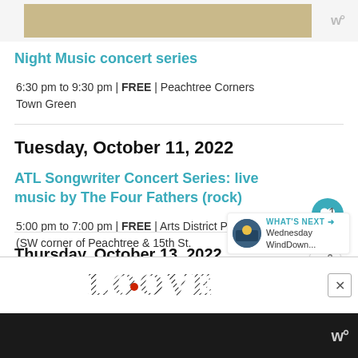[Figure (other): Top banner advertisement image with tan/beige color]
Night Music concert series
6:30 pm to 9:30 pm | FREE | Peachtree Corners Town Green
Tuesday, October 11, 2022
ATL Songwriter Concert Series: live music by The Four Fathers (rock)
5:00 pm to 7:00 pm | FREE | Arts District Plaza (SW corner of Peachtree & 15th St.
Thursday, October 13, 2022
Dunwoody Food Truck Thursday with
[Figure (other): LOOVE advertisement overlay at the bottom]
[Figure (other): WeatherBug logo bottom right]